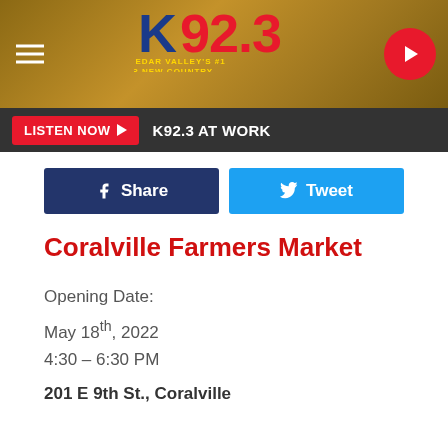[Figure (logo): K92.3 radio station header banner with logo, hamburger menu icon, and play button]
LISTEN NOW  K92.3 AT WORK
[Figure (infographic): Facebook Share button and Twitter Tweet button]
Coralville Farmers Market
Opening Date:
May 18th, 2022
4:30 – 6:30 PM
201 E 9th St., Coralville